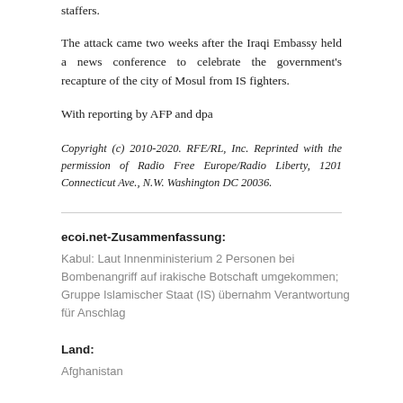staffers.
The attack came two weeks after the Iraqi Embassy held a news conference to celebrate the government's recapture of the city of Mosul from IS fighters.
With reporting by AFP and dpa
Copyright (c) 2010-2020. RFE/RL, Inc. Reprinted with the permission of Radio Free Europe/Radio Liberty, 1201 Connecticut Ave., N.W. Washington DC 20036.
ecoi.net-Zusammenfassung:
Kabul: Laut Innenministerium 2 Personen bei Bombenangriff auf irakische Botschaft umgekommen; Gruppe Islamischer Staat (IS) übernahm Verantwortung für Anschlag
Land:
Afghanistan